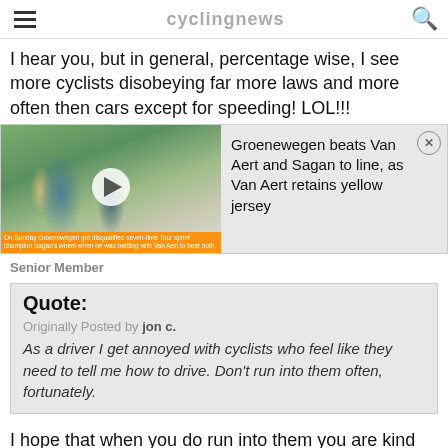cyclingnews
I hear you, but in general, percentage wise, I see more cyclists disobeying far more laws and more often then cars except for speeding! LOL!!!
[Figure (screenshot): Video thumbnail showing cycling race coverage with play button, beside text: Groenewegen beats Van Aert and Sagan to line, as Van Aert retains yellow jersey. Orange caption bar at bottom of video.]
Senior Member
Quote:
Originally Posted by jon c.
As a driver I get annoyed with cyclists who feel like they need to tell me how to drive. Don't run into them often, fortunately.
I hope that when you do run into them you are kind enough to go back and put them out of their misery, rather than